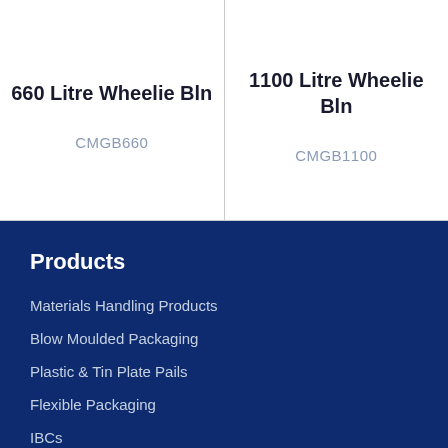660 Litre Wheelie Bln
CMGB660
1100 Litre Wheelie Bln
CMGB1100
Products
Materials Handling Products
Blow Moulded Packaging
Plastic & Tin Plate Pails
Flexible Packaging
IBCs